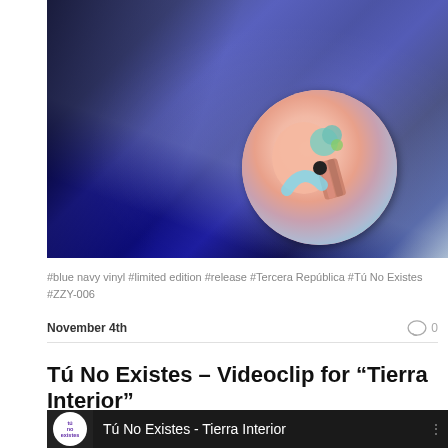[Figure (photo): Blue navy vinyl record with colorful illustrated label showing abstract shapes, placed on a surface with what appears to be album artwork in the background]
#blue navy vinyl #limited edition #release #Tercera República #Tú No Existes #ZZY-006
November 4th
Tú No Existes – Videoclip for "Tierra Interior"
[Figure (screenshot): YouTube video thumbnail showing Tú No Existes - Tierra Interior with channel logo]